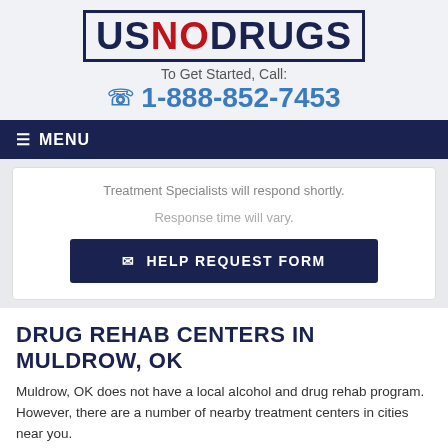[Figure (logo): USNODRUGS logo with US and DRUGS in dark navy and NO in red, inside a bordered box]
To Get Started, Call:
☎ 1-888-852-7453
≡ MENU
Treatment Specialists will respond shortly.
Response time will vary.
✉ HELP REQUEST FORM
DRUG REHAB CENTERS IN MULDROW, OK
Muldrow, OK does not have a local alcohol and drug rehab program. However, there are a number of nearby treatment centers in cities near you.